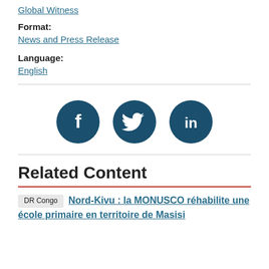Global Witness
Format:
News and Press Release
Language:
English
[Figure (other): Three circular dark teal social media icons: Facebook (f), Twitter (bird), LinkedIn (in)]
Related Content
DR Congo  Nord-Kivu : la MONUSCO réhabilite une école primaire en territoire de Masisi